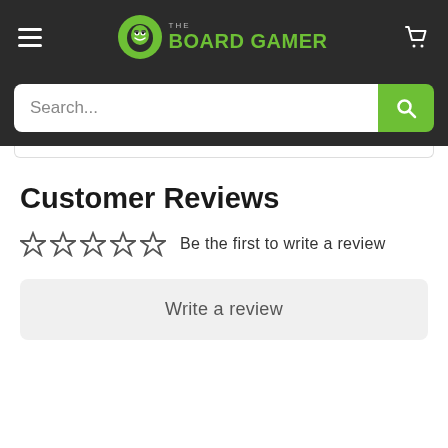THE BOARD GAMER
[Figure (screenshot): Search bar with green search button]
Customer Reviews
☆☆☆☆☆ Be the first to write a review
Write a review